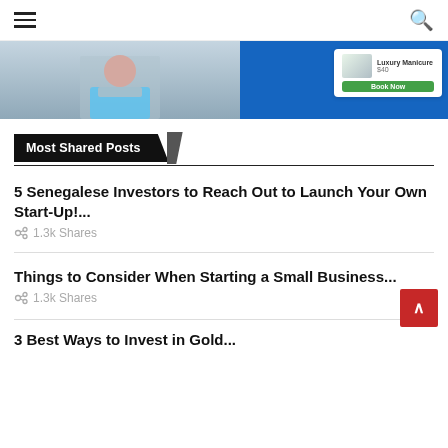Menu | Search
[Figure (screenshot): Website banner with blue background showing a person and a luxury manicure advertisement card with 'Book Now' button]
Most Shared Posts
5 Senegalese Investors to Reach Out to Launch Your Own Start-Up!...
1.3k Shares
Things to Consider When Starting a Small Business...
1.3k Shares
3 Best Ways to Invest in Gold...